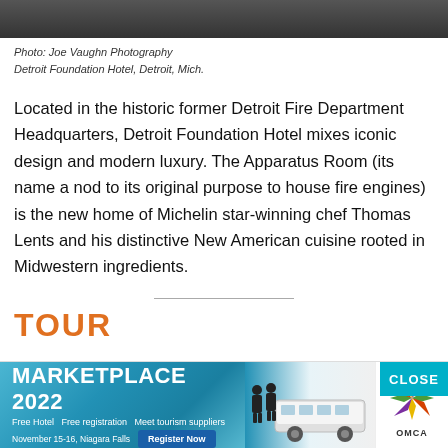[Figure (photo): Dark photograph strip at top of page, partially visible, showing interior of Detroit Foundation Hotel]
Photo: Joe Vaughn Photography
Detroit Foundation Hotel, Detroit, Mich.
Located in the historic former Detroit Fire Department Headquarters, Detroit Foundation Hotel mixes iconic design and modern luxury. The Apparatus Room (its name a nod to its original purpose to house fire engines) is the new home of Michelin star-winning chef Thomas Lents and his distinctive New American cuisine rooted in Midwestern ingredients.
TOUR
[Figure (infographic): Advertisement banner for MARKETPLACE 2022. Text: Free Hotel, Free registration, Meet tourism suppliers, November 15-16, Niagara Falls. Register now button. Bus and people silhouette illustration. OMCA logo on right. CLOSE button top right.]